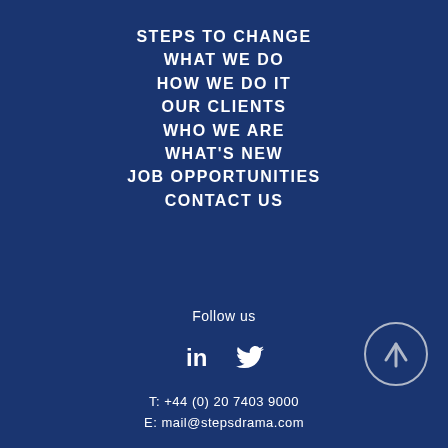STEPS TO CHANGE
WHAT WE DO
HOW WE DO IT
OUR CLIENTS
WHO WE ARE
WHAT'S NEW
JOB OPPORTUNITIES
CONTACT US
Follow us
[Figure (logo): LinkedIn and Twitter social media icons]
[Figure (illustration): Back to top arrow button — circle with upward arrow]
T: +44 (0) 20 7403 9000
E: mail@stepsdrama.com